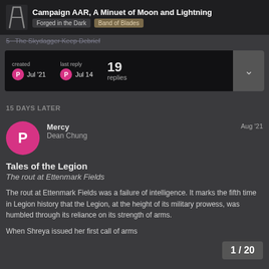Campaign AAR, A Minuet of Moon and Lightning | Forged in the Dark | Band of Blades
5 The Skydagger Keep Debrief
| created | last reply | replies |
| --- | --- | --- |
| Jul '21 | Jul 14 | 19 |
15 DAYS LATER
Mercy Dean Chung Aug '21
Tales of the Legion
The rout at Ettenmark Fields
The rout at Ettenmark Fields was a failure of intelligence. It marks the fifth time in Legion history that the Legion, at the height of its military prowess, was humbled through its reliance on its strength of arms.
When Shreya issued her first call to arms
1 / 20